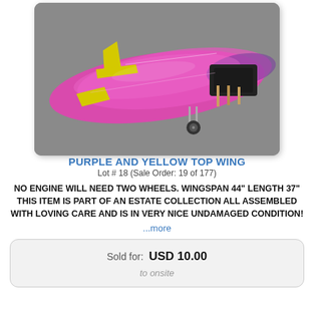[Figure (photo): RC model airplane with purple/pink top wing and yellow tail fins, photographed on a gray carpet background. The plane has no engine, landing gear with one visible wheel, and wooden construction visible at the fuselage.]
PURPLE AND YELLOW TOP WING
Lot # 18 (Sale Order: 19 of 177)
NO ENGINE WILL NEED TWO WHEELS. WINGSPAN 44" LENGTH 37" THIS ITEM IS PART OF AN ESTATE COLLECTION ALL ASSEMBLED WITH LOVING CARE AND IS IN VERY NICE UNDAMAGED CONDITION!
...more
Sold for: USD 10.00
to onsite